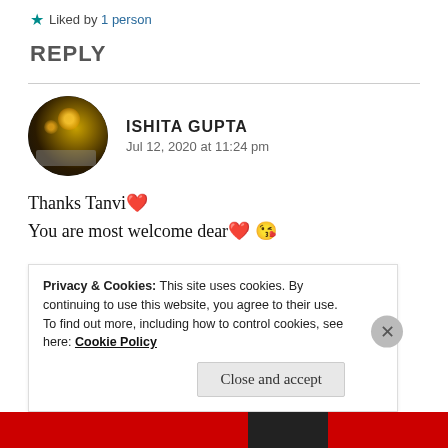★ Liked by 1 person
REPLY
[Figure (photo): Circular avatar photo of Ishita Gupta showing bokeh lights and a book]
ISHITA GUPTA
Jul 12, 2020 at 11:24 pm
Thanks Tanvi❣️
You are most welcome dear❤️😘
★ Liked by 1 person
Privacy & Cookies: This site uses cookies. By continuing to use this website, you agree to their use.
To find out more, including how to control cookies, see here: Cookie Policy
Close and accept